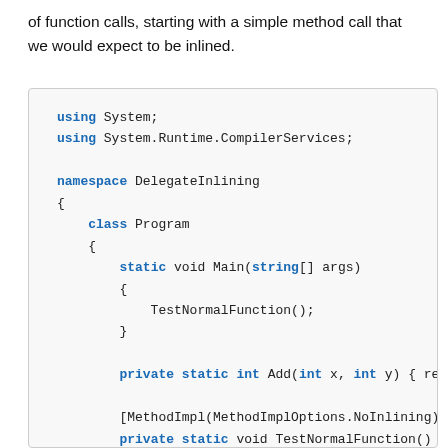of function calls, starting with a simple method call that we would expect to be inlined.
[Figure (screenshot): Code block showing C# source code with using directives, namespace DelegateInlining, class Program, static void Main calling TestNormalFunction(), private static int Add method, MethodImpl attribute, and private static void TestNormalFunction declaration.]